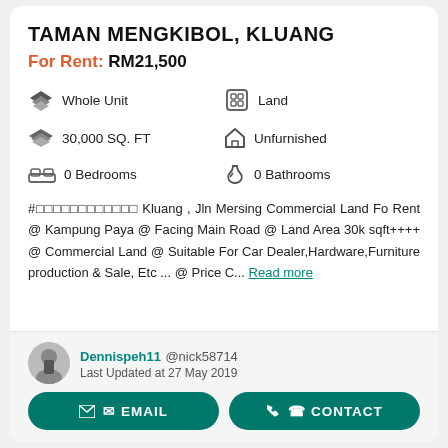TAMAN MENGKIBOL, KLUANG
For Rent: RM21,500
Whole Unit
Land
30,000 SQ. FT
Unfurnished
0 Bedrooms
0 Bathrooms
#□□□□□□□□□□□□ Kluang , Jln Mersing Commercial Land Fo Rent @ Kampung Paya @ Facing Main Road @ Land Area 30k sqft++++ @ Commercial Land @ Suitable For Car Dealer,Hardware,Furniture production & Sale, Etc ... @ Price C... Read more
Dennispeh11 @nick58714
Last Updated at 27 May 2019
EMAIL
CONTACT